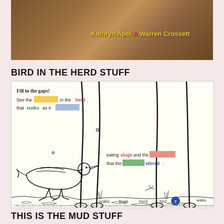[Figure (photo): Top photo showing muddy ground with animal legs/hooves visible, with author names 'Kathryn Apel & Warren Crossett' in yellow/red text overlay]
BIRD IN THE HERD STUFF
[Figure (illustration): Children's worksheet titled 'Fill in the gaps!' showing a line drawing of a bird (moorhen/coot) stalking among tall animal legs in mud/water. Text reads: 'See the [yellow gap] in the herd, that stalks as it [blue gap]. eating slugs and the [salmon gap] that the [green gap] stirred.' Word bank at bottom: walks, bugs, herd, bird. Page number 7 in blue circle. Copyright notice at bottom.]
THIS IS THE MUD STUFF